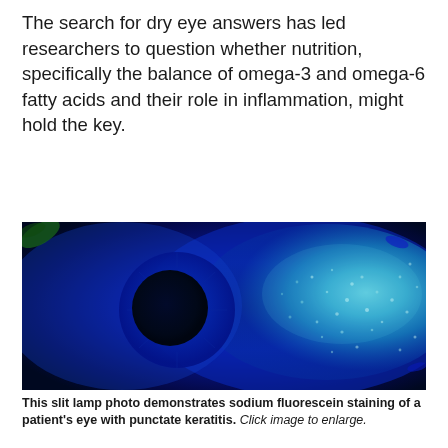The search for dry eye answers has led researchers to question whether nutrition, specifically the balance of omega-3 and omega-6 fatty acids and their role in inflammation, might hold the key.
[Figure (photo): Slit lamp photo showing sodium fluorescein staining of a patient's eye with punctate keratitis. The image is taken under blue light illumination, revealing a bright cyan/teal stained region on the cornea (right side) and a dark circular pupil (center-left). The background is deep dark blue/black.]
This slit lamp photo demonstrates sodium fluorescein staining of a patient's eye with punctate keratitis. Click image to enlarge.